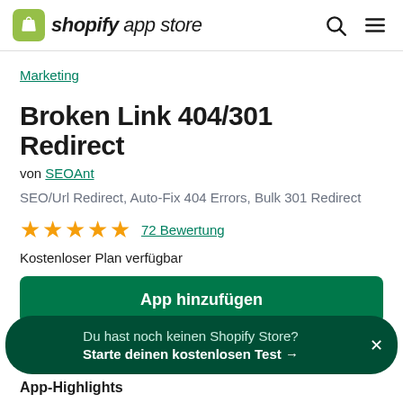shopify app store
Marketing
Broken Link 404/301 Redirect
von SEOAnt
SEO/Url Redirect, Auto-Fix 404 Errors, Bulk 301 Redirect
★★★★★ 72 Bewertung
Kostenloser Plan verfügbar
App hinzufügen
Du hast noch keinen Shopify Store? Starte deinen kostenlosen Test →
App-Highlights